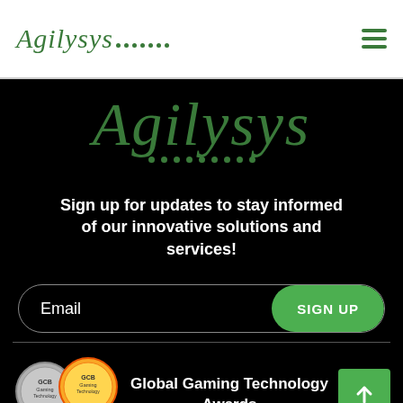Agilysys
Agilysys
Sign up for updates to stay informed of our innovative solutions and services!
Email  SIGN UP
[Figure (illustration): Two award medals (silver and gold) with blue and gold ribbons, labeled GCB Gaming Technology]
Global Gaming Technology Awards